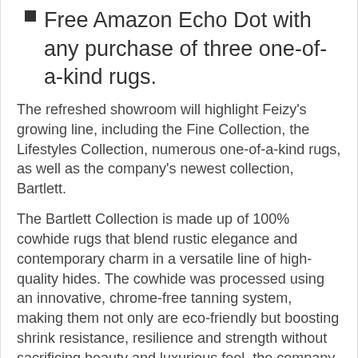Free Amazon Echo Dot with any purchase of three one-of-a-kind rugs.
The refreshed showroom will highlight Feizy's growing line, including the Fine Collection, the Lifestyles Collection, numerous one-of-a-kind rugs, as well as the company's newest collection, Bartlett.
The Bartlett Collection is made up of 100% cowhide rugs that blend rustic elegance and contemporary charm in a versatile line of high-quality hides. The cowhide was processed using an innovative, chrome-free tanning system, making them not only are eco-friendly but boosting shrink resistance, resilience and strength without sacrificing beauty and luxurious feel, the company said.
ShareThis Facebook Tweet LinkedIn Pinterest Email